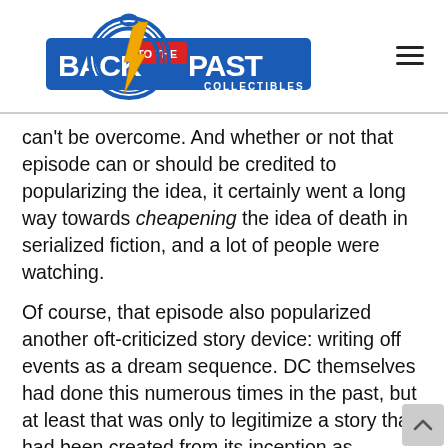[Figure (logo): Back to the Past Collectibles logo with stopwatch/compass and lightning bolt design, with navigation hamburger menu icon]
can't be overcome. And whether or not that episode can or should be credited to popularizing the idea, it certainly went a long way towards cheapening the idea of death in serialized fiction, and a lot of people were watching.
Of course, that episode also popularized another oft-criticized story device: writing off events as a dream sequence. DC themselves had done this numerous times in the past, but at least that was only to legitimize a story that had been created from its inception as “imaginary”; that is, not to impact future storylines. The writers of Dallas were just trying to